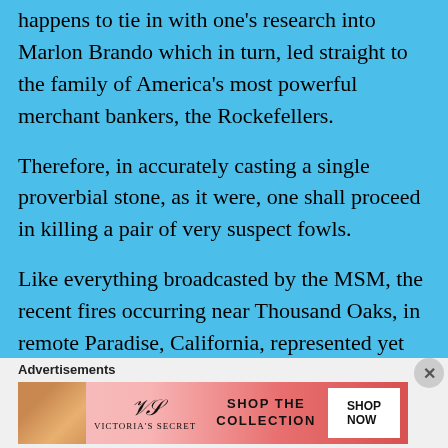happens to tie in with one's research into Marlon Brando which in turn, led straight to the family of America's most powerful merchant bankers, the Rockefellers.
Therefore, in accurately casting a single proverbial stone, as it were, one shall proceed in killing a pair of very suspect fowls.
Like everything broadcasted by the MSM, the recent fires occurring near Thousand Oaks, in remote Paradise, California, represented yet another psychological operation's dramatic illustration, purely designed to serve an overarching agenda.
Advertisements
[Figure (other): Victoria's Secret advertisement banner showing a model, VS logo, 'SHOP THE COLLECTION' text, and 'SHOP NOW' button]